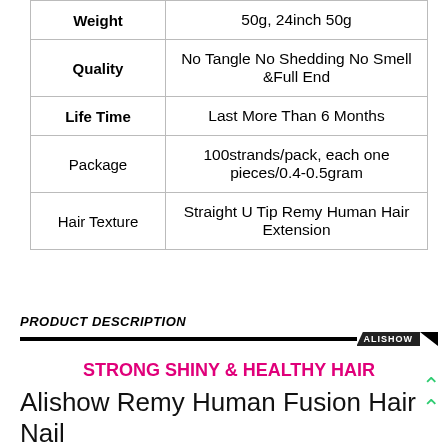|  |  |
| --- | --- |
| Weight | 50g, 24inch 50g |
| Quality | No Tangle No Shedding No Smell &Full End |
| Life Time | Last More Than 6 Months |
| Package | 100strands/pack, each one pieces/0.4-0.5gram |
| Hair Texture | Straight U Tip Remy Human Hair Extension |
PRODUCT DESCRIPTION
ALISHOW
STRONG SHINY & HEALTHY HAIR
Alishow Remy Human Fusion Hair Nail U Tip 100% Remy Human Hair Keratin